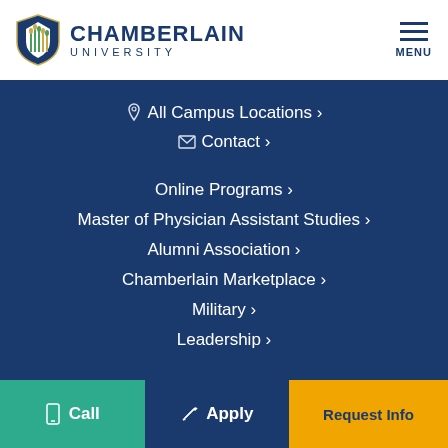CHAMBERLAIN UNIVERSITY
All Campus Locations ›
Contact ›
Online Programs ›
Master of Physician Assistant Studies ›
Alumni Association ›
Chamberlain Marketplace ›
Military ›
Leadership ›
Call   Apply   Request Info